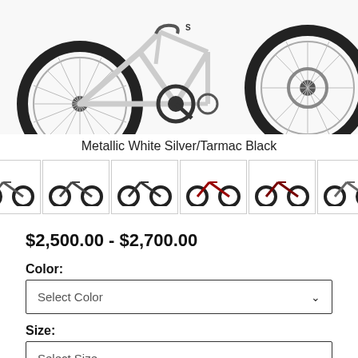[Figure (photo): Close-up photo of a road bike (Specialized) in Metallic White Silver/Tarmac Black colorway, showing drivetrain and rear wheel detail]
Metallic White Silver/Tarmac Black
[Figure (photo): Row of 8 thumbnail images of the bike in various color variants, with left and right navigation arrows]
$2,500.00 - $2,700.00
Color:
Select Color
Size:
Select Size